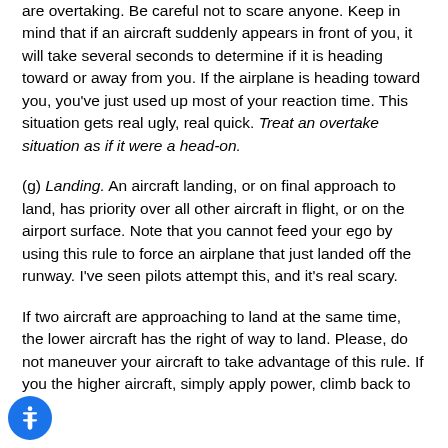are overtaking. Be careful not to scare anyone. Keep in mind that if an aircraft suddenly appears in front of you, it will take several seconds to determine if it is heading toward or away from you. If the airplane is heading toward you, you've just used up most of your reaction time. This situation gets real ugly, real quick. Treat an overtake situation as if it were a head-on.
(g) Landing. An aircraft landing, or on final approach to land, has priority over all other aircraft in flight, or on the airport surface. Note that you cannot feed your ego by using this rule to force an airplane that just landed off the runway. I've seen pilots attempt this, and it's real scary.
If two aircraft are approaching to land at the same time, the lower aircraft has the right of way to land. Please, do not maneuver your aircraft to take advantage of this rule. If you the higher aircraft, simply apply power, climb back to